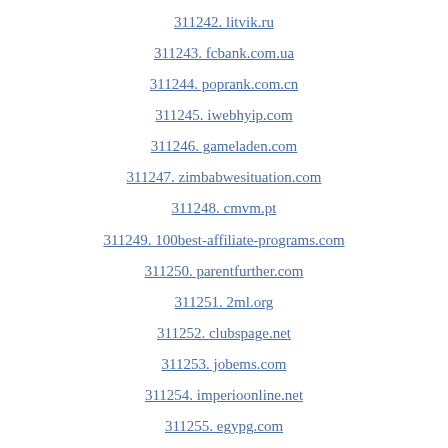311242. litvik.ru
311243. fcbank.com.ua
311244. poprank.com.cn
311245. iwebhyip.com
311246. gameladen.com
311247. zimbabwesituation.com
311248. cmvm.pt
311249. 100best-affiliate-programs.com
311250. parentfurther.com
311251. 2ml.org
311252. clubspage.net
311253. jobems.com
311254. imperioonline.net
311255. egypg.com